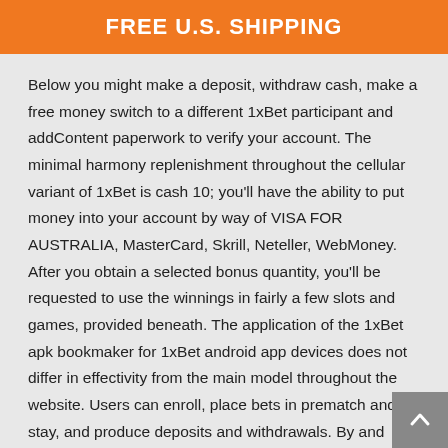FREE U.S. SHIPPING
Below you might make a deposit, withdraw cash, make a free money switch to a different 1xBet participant and addContent paperwork to verify your account. The minimal harmony replenishment throughout the cellular variant of 1xBet is cash 10; you'll have the ability to put money into your account by way of VISA FOR AUSTRALIA, MasterCard, Skrill, Neteller, WebMoney. After you obtain a selected bonus quantity, you'll be requested to use the winnings in fairly a few slots and games, provided beneath. The application of the 1xBet apk bookmaker for 1xBet android app devices does not differ in effectivity from the main model throughout the website. Users can enroll, place bets in prematch and stay, and produce deposits and withdrawals. By and enormous, this operation will probably take you little or no time – actually a minute, and the event shall be prepared for unique use.